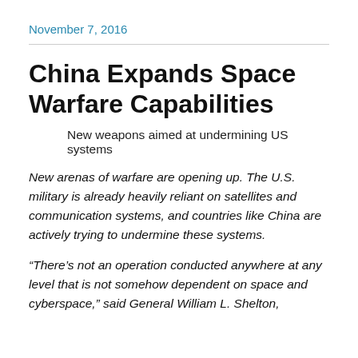November 7, 2016
China Expands Space Warfare Capabilities
New weapons aimed at undermining US systems
New arenas of warfare are opening up. The U.S. military is already heavily reliant on satellites and communication systems, and countries like China are actively trying to undermine these systems.
“There’s not an operation conducted anywhere at any level that is not somehow dependent on space and cyberspace,” said General William L. Shelton,